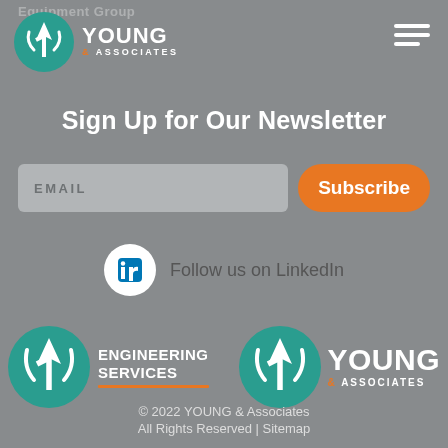Equipment Group
[Figure (logo): Young & Associates YA circular teal logo with text YOUNG ASSOCIATES]
Sign Up for Our Newsletter
EMAIL
Subscribe
Follow us on LinkedIn
[Figure (logo): YA Engineering Services logo - teal circle with YA letters and text ENGINEERING SERVICES]
[Figure (logo): Young & Associates logo - teal circle with YA letters and text YOUNG & ASSOCIATES]
© 2022 YOUNG & Associates All Rights Reserved | Sitemap